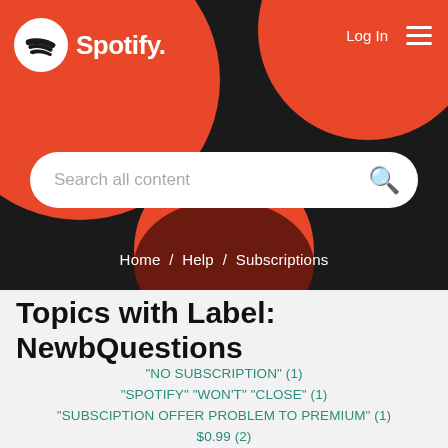[Figure (screenshot): Spotify website header with logo, Log In button, hamburger menu, decorative red and dark circles on black background, and a search bar with placeholder 'Search all content']
Home / Help / Subscriptions
Topics with Label: NewbQuestions
"NO SUBSCRIPTION" (1)
"SPOTIFY" "WON'T" "CLOSE" (1)
"SUBSCIPTION OFFER PROBLEM TO PREMIUM" (1)
$0.99 (2)